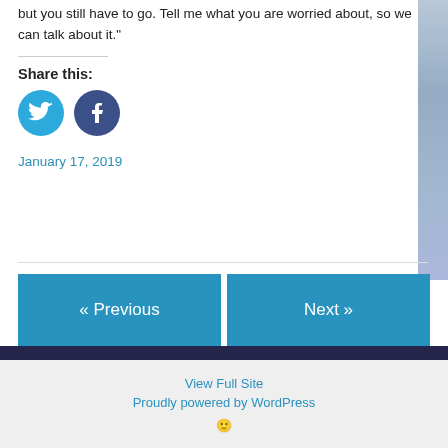but you still have to go. Tell me what you are worried about, so we can talk about it."
Share this:
[Figure (illustration): Twitter and Facebook social share icon buttons]
January 17, 2019
« Previous
Next »
View Full Site
Proudly powered by WordPress